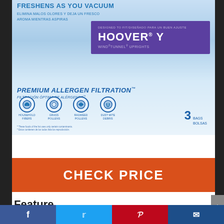[Figure (photo): Product photo of Hoover Type Y Premium Allergen Filtration vacuum cleaner bags box (3 bags). Blue box with purple label showing HOOVER Y WindTunnel Uprights. Features Premium Allergen Filtration branding and four filter icons.]
CHECK PRICE
Feature
Bissell Vacuum Cleaner Bag, Series: 22V81, Suitable For Use With: